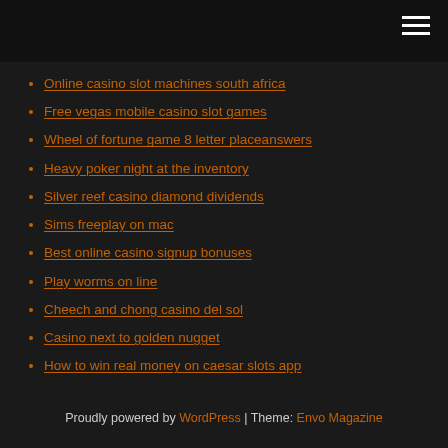Online casino slot machines south africa
Free vegas mobile casino slot games
Wheel of fortune game 8 letter placeanswers
Heavy poker night at the inventory
Silver reef casino diamond dividends
Sims freeplay on mac
Best online casino signup bonuses
Play worms on line
Cheech and chong casino del sol
Casino next to golden nugget
How to win real money on caesar slots app
Proudly powered by WordPress | Theme: Envo Magazine